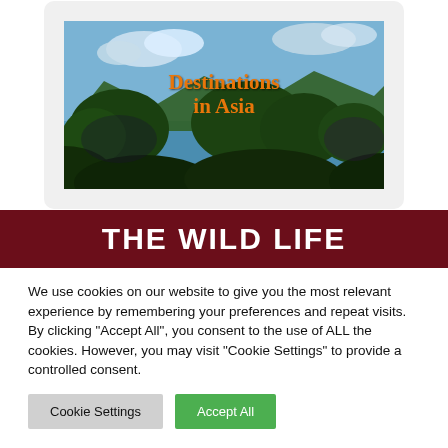[Figure (photo): Travel photo showing tropical islands and sea with text 'Destinations in Asia' overlaid in orange script font on a nature landscape with lush green hills, blue water, and cloudy sky.]
THE WILD LIFE
We use cookies on our website to give you the most relevant experience by remembering your preferences and repeat visits. By clicking "Accept All", you consent to the use of ALL the cookies. However, you may visit "Cookie Settings" to provide a controlled consent.